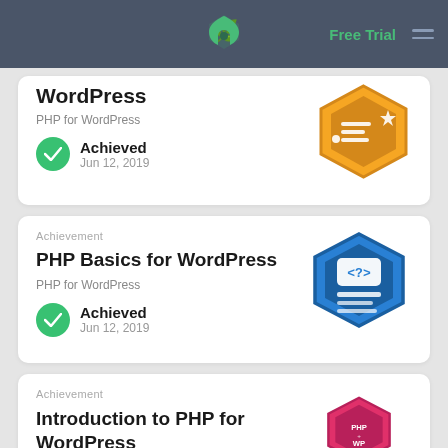Free Trial
WordPress
PHP for WordPress
Achieved
Jun 12, 2019
Achievement
PHP Basics for WordPress
PHP for WordPress
Achieved
Jun 12, 2019
Achievement
Introduction to PHP for WordPress
PHP for WordPress